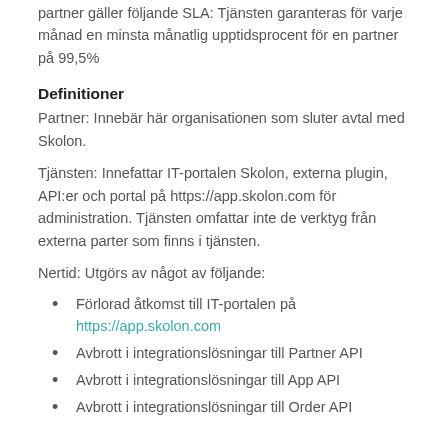partner gäller följande SLA: Tjänsten garanteras för varje månad en minsta månatlig upptidsprocent för en partner på 99,5%
Definitioner
Partner: Innebär här organisationen som sluter avtal med Skolon.
Tjänsten: Innefattar IT-portalen Skolon, externa plugin, API:er och portal på https://app.skolon.com för administration. Tjänsten omfattar inte de verktyg från externa parter som finns i tjänsten.
Nertid: Utgörs av något av följande:
Förlorad åtkomst till IT-portalen på https://app.skolon.com
Avbrott i integrationslösningar till Partner API
Avbrott i integrationslösningar till App API
Avbrott i integrationslösningar till Order API